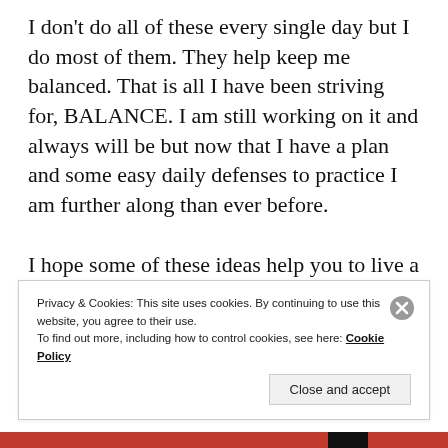I don't do all of these every single day but I do most of them. They help keep me balanced. That is all I have been striving for, BALANCE. I am still working on it and always will be but now that I have a plan and some easy daily defenses to practice I am further along than ever before.

I hope some of these ideas help you to live a balanced life too! Come up with your own plan or build off of mine. Point is, have a
Privacy & Cookies: This site uses cookies. By continuing to use this website, you agree to their use.
To find out more, including how to control cookies, see here: Cookie Policy
Close and accept